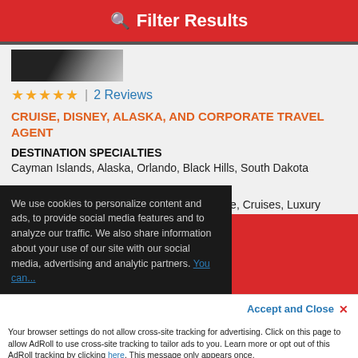Filter Results
[Figure (photo): Small thumbnail photo strip at top of listing]
★★★★★ | 2 Reviews
CRUISE, DISNEY, ALASKA, AND CORPORATE TRAVEL AGENT
DESTINATION SPECIALTIES
Cayman Islands, Alaska, Orlando, Black Hills, South Dakota
INTEREST SPECIALTIES
Family Vacations, World Cruises, All Inclusive, Cruises, Luxury Cruises
Sandi says:
"Loved Jessica attention to details for our trip. She is so easy to work with and replied quickly to my emails. ..." Read More
We use cookies to personalize content and ads, to provide social media features and to analyze our traffic. We also share information about your use of our site with our social media, advertising and analytic partners. You can...
Accept and Close ✕
Your browser settings do not allow cross-site tracking for advertising. Click on this page to allow AdRoll to use cross-site tracking to tailor ads to you. Learn more or opt out of this AdRoll tracking by clicking here. This message only appears once.